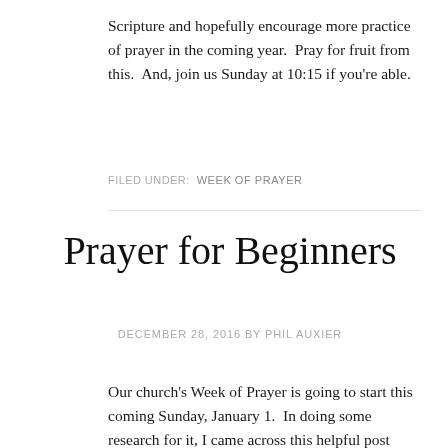Scripture and hopefully encourage more practice of prayer in the coming year.  Pray for fruit from this.  And, join us Sunday at 10:15 if you're able.
FILED UNDER: WEEK OF PRAYER
Prayer for Beginners
DECEMBER 28, 2016 BY PHIL AUXIER
Our church's Week of Prayer is going to start this coming Sunday, January 1.  In doing some research for it, I came across this helpful post entitled Prayer for Beginners.  I hope it encourages you and reminds you of where we can start this